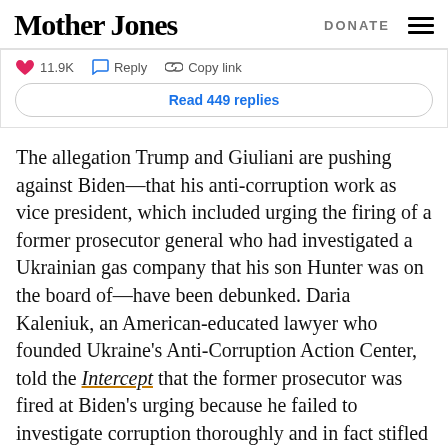Mother Jones  DONATE
[Figure (screenshot): Tweet interaction bar showing: heart icon 11.9K, Reply button, Copy link button, and a 'Read 449 replies' button]
The allegation Trump and Giuliani are pushing against Biden—that his anti-corruption work as vice president, which included urging the firing of a former prosecutor general who had investigated a Ukrainian gas company that his son Hunter was on the board of—have been debunked. Daria Kaleniuk, an American-educated lawyer who founded Ukraine's Anti-Corruption Action Center, told the Intercept that the former prosecutor was fired at Biden's urging because he failed to investigate corruption thoroughly and in fact stifled